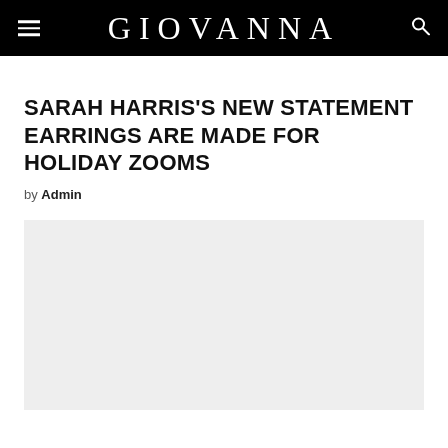GIOVANNA
SARAH HARRIS'S NEW STATEMENT EARRINGS ARE MADE FOR HOLIDAY ZOOMS
by Admin
[Figure (photo): Large light grey placeholder image block below the article byline]